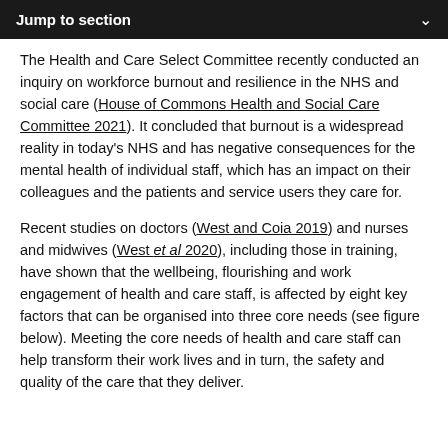Jump to section
The Health and Care Select Committee recently conducted an inquiry on workforce burnout and resilience in the NHS and social care (House of Commons Health and Social Care Committee 2021). It concluded that burnout is a widespread reality in today's NHS and has negative consequences for the mental health of individual staff, which has an impact on their colleagues and the patients and service users they care for.
Recent studies on doctors (West and Coia 2019) and nurses and midwives (West et al 2020), including those in training, have shown that the wellbeing, flourishing and work engagement of health and care staff, is affected by eight key factors that can be organised into three core needs (see figure below). Meeting the core needs of health and care staff can help transform their work lives and in turn, the safety and quality of the care that they deliver.